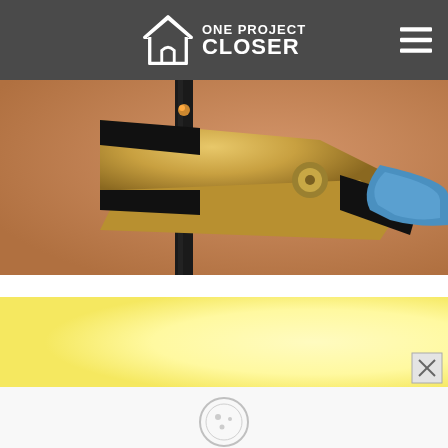ONE PROJECT CLOSER
[Figure (photo): Close-up photo of wire strippers or pliers gripping a wire against a warm brown/orange background. The tool has a blue handle and golden metallic jaws.]
[Figure (photo): Light yellow/cream colored background image, likely an advertisement or banner.]
[Figure (photo): Partially visible photo with a light gray/white background showing what appears to be a small circular object or coin.]